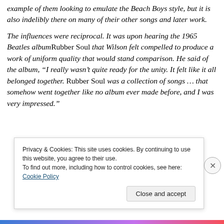example of them looking to emulate the Beach Boys style, but it is also indelibly there on many of their other songs and later work.
The influences were reciprocal. It was upon hearing the 1965 Beatles album Rubber Soul that Wilson felt compelled to produce a work of uniform quality that would stand comparison. He said of the album, “I really wasn’t quite ready for the unity. It felt like it all belonged together. Rubber Soul was a collection of songs … that somehow went together like no album ever made before, and I was very impressed.”
Privacy & Cookies: This site uses cookies. By continuing to use this website, you agree to their use.
To find out more, including how to control cookies, see here: Cookie Policy